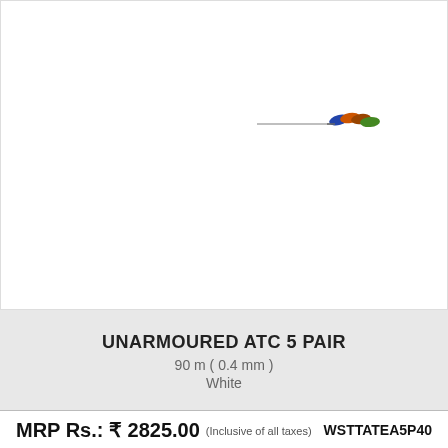[Figure (photo): Product image area showing a cable — faint horizontal cable illustration with colored wire ends (blue, orange, red, green) visible at the right side]
UNARMOURED ATC 5 PAIR
90 m ( 0.4 mm )
White
MRP Rs.: ₹ 2825.00
WSTTATEA5P40